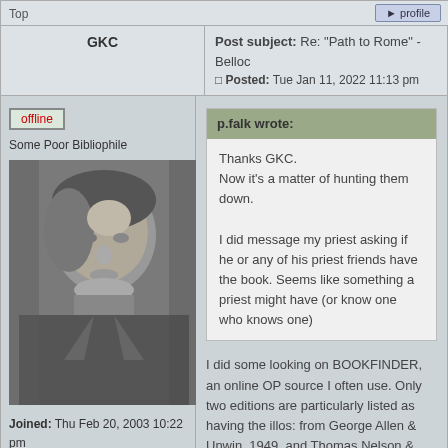Top | profile
GKC | Post subject: Re: "Path to Rome" - Belloc | Posted: Tue Jan 11, 2022 11:13 pm
offline
Some Poor Bibliophile
Joined: Thu Feb 20, 2003 10:22 pm
Posts: 20003
[Figure (photo): Black and white portrait photo of an elderly man, appears to be G.K. Chesterton]
p.falk wrote:
Thanks GKC.
Now it's a matter of hunting them down.

I did message my priest asking if he or any of his priest friends have the book. Seems like something a priest might have (or know one who knows one)
I did some looking on BOOKFINDER, an online OP source I often use. Only two editions are particularly listed as having the illos: from George Allen & Unwin, 1949, and Thomas Nelson & Sons, undated. I would bet there are